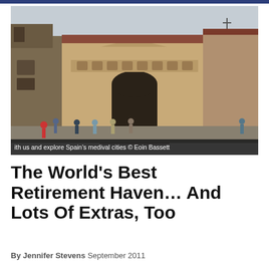[Figure (photo): Photograph of a medieval stone church/cathedral in Spain, with tourists standing in the plaza in front of it. Romanesque architecture with arched entrance, stone towers, and red-tiled roofs. Caption overlay reads: 'ith us and explore Spain's medival cities © Eoin Bassett']
ith us and explore Spain's medival cities © Eoin Bassett
The World's Best Retirement Haven… And Lots Of Extras, Too
By Jennifer Stevens September 2011